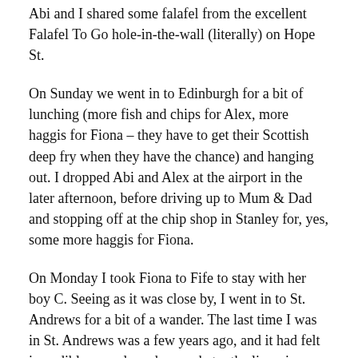Abi and I shared some falafel from the excellent Falafel To Go hole-in-the-wall (literally) on Hope St.
On Sunday we went in to Edinburgh for a bit of lunching (more fish and chips for Alex, more haggis for Fiona – they have to get their Scottish deep fry when they have the chance) and hanging out. I dropped Abi and Alex at the airport in the later afternoon, before driving up to Mum & Dad and stopping off at the chip shop in Stanley for, yes, some more haggis for Fiona.
On Monday I took Fiona to Fife to stay with her boy C. Seeing as it was close by, I went in to St. Andrews for a bit of a wander. The last time I was in St. Andrews was a few years ago, and it had felt incredibly upscale and upmarket – the lingering royal afterglow of William and Kate. Perhaps it was the cold and grey weather, but this time it felt a bit more casual and studenty. I mean, it's still St. Andrews, so let's not get carried away. The bones of